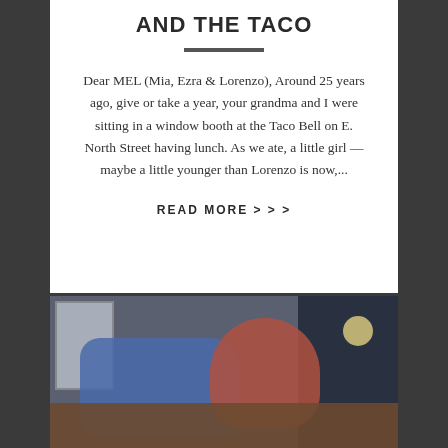AND THE TACO
Dear MEL (Mia, Ezra & Lorenzo), Around 25 years ago, give or take a year, your grandma and I were sitting in a window booth at the Taco Bell on E. North Street having lunch. As we ate, a little girl — maybe a little younger than Lorenzo is now,...
READ MORE > > >
[Figure (photo): Two children sitting at a wooden table, one in a blue jacket leaning on the table, one in a red top. Papers and items on the table. Window on the left, dark background on the right.]